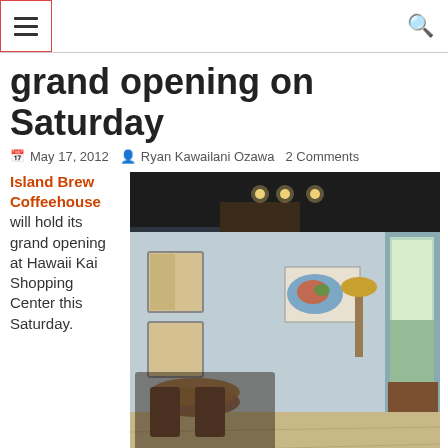☰ [menu icon] [search icon]
grand opening on Saturday
May 17, 2012   Ryan Kawailani Ozawa   2 Comments
Island Brew Coffeehouse will hold its grand opening at Hawaii Kai Shopping Center this Saturday.
[Figure (photo): Interior of Island Brew Coffeehouse showing seating area with wooden floor, pendant lights on dark ceiling, chairs and tables, a colorful map artwork on the wall, and an open door with natural light.]